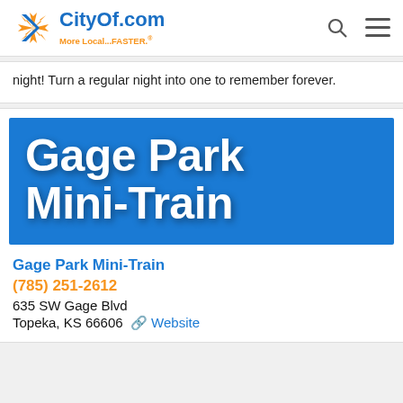CityOf.com — More Local...FASTER.®
night! Turn a regular night into one to remember forever.
[Figure (logo): Gage Park Mini-Train blue banner logo with large white bold text reading 'Gage Park Mini-Train' on a blue background]
Gage Park Mini-Train
(785) 251-2612
635 SW Gage Blvd
Topeka, KS 66606   Website